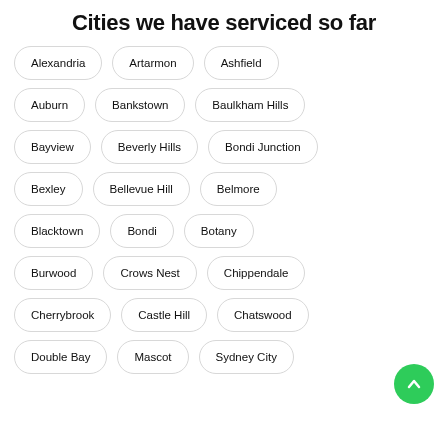Cities we have serviced so far
Alexandria
Artarmon
Ashfield
Auburn
Bankstown
Baulkham Hills
Bayview
Beverly Hills
Bondi Junction
Bexley
Bellevue Hill
Belmore
Blacktown
Bondi
Botany
Burwood
Crows Nest
Chippendale
Cherrybrook
Castle Hill
Chatswood
Double Bay
Mascot
Sydney City